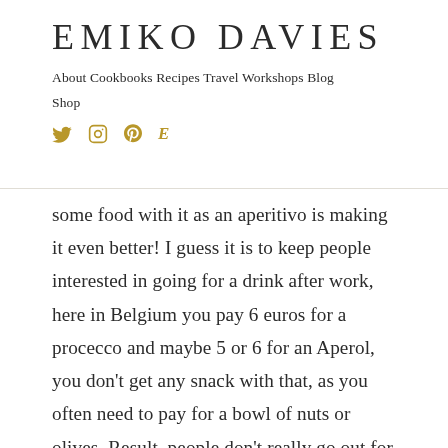EMIKO DAVIES
About  Cookbooks  Recipes  Travel  Workshops  Blog  Shop
some food with it as an aperitivo is making it even better! I guess it is to keep people interested in going for a drink after work, here in Belgium you pay 6 euros for a procecco and maybe 5 or 6 for an Aperol, you don't get any snack with that, as you often need to pay for a bowl of nuts or olives. Result, people don't really go out for drinks anymore unless it's the weekend, and even still people will prefer to go